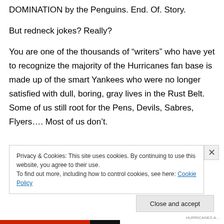DOMINATION by the Penguins. End. Of. Story.
But redneck jokes? Really?
You are one of the thousands of “writers” who have yet to recognize the majority of the Hurricanes fan base is made up of the smart Yankees who were no longer satisfied with dull, boring, gray lives in the Rust Belt. Some of us still root for the Pens, Devils, Sabres, Flyers…. Most of us don’t.
Privacy & Cookies: This site uses cookies. By continuing to use this website, you agree to their use.
To find out more, including how to control cookies, see here: Cookie Policy
Close and accept